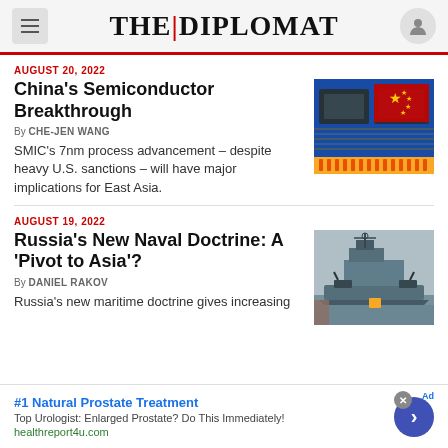THE DIPLOMAT
AUGUST 20, 2022
China's Semiconductor Breakthrough
By CHE-JEN WANG
SMIC's 7nm process advancement – despite heavy U.S. sanctions – will have major implications for East Asia.
[Figure (photo): Semiconductor chips with Chinese flag overlay]
AUGUST 19, 2022
Russia's New Naval Doctrine: A 'Pivot to Asia'?
By DANIEL RAKOV
Russia's new maritime doctrine gives increasing
[Figure (photo): Russian naval warship at sea]
#1 Natural Prostate Treatment
Top Urologist: Enlarged Prostate? Do This Immediately!
healthreport4u.com